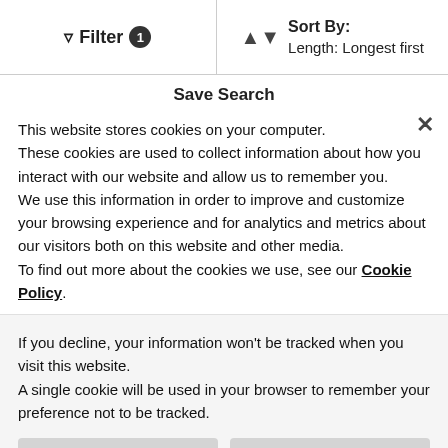Filter 1  |  Sort By: Length: Longest first
Save Search
Grosvenor Yachts Ltd
2019 Beneteau Barracuda 9
Bates Wharf
WA
£ 5,557,488
London, Greater London
This website stores cookies on your computer.
These cookies are used to collect information about how you interact with our website and allow us to remember you.
We use this information in order to improve and customize your browsing experience and for analytics and metrics about our visitors both on this website and other media.
To find out more about the cookies we use, see our Cookie Policy.
If you decline, your information won't be tracked when you visit this website.
A single cookie will be used in your browser to remember your preference not to be tracked.
Deny
Accept Cookies